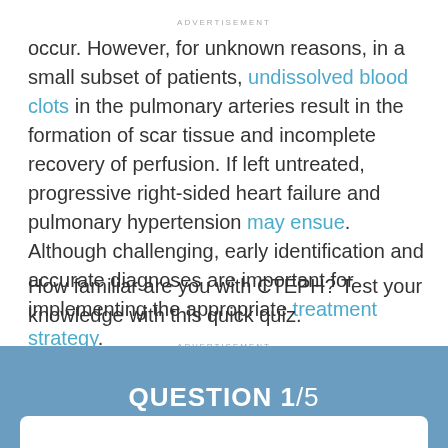ADVERTISEMENT
occur. However, for unknown reasons, in a small subset of patients, undissolved blood clots in the pulmonary arteries result in the formation of scar tissue and incomplete recovery of perfusion. If left untreated, progressive right-sided heart failure and pulmonary hypertension may ensue. Although challenging, early identification and accurate diagnoses are important for implementing the appropriate treatment strategy.
How familiar are you with CTEPH? Test your knowledge with this quick quiz.
ADVERTISEMENT
QUESTION 1/5